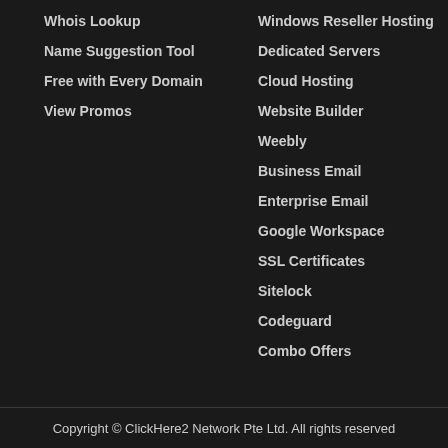Whois Lookup
Name Suggestion Tool
Free with Every Domain
View Promos
Windows Reseller Hosting
Dedicated Servers
Cloud Hosting
Website Builder
Weebly
Business Email
Enterprise Email
Google Workspace
SSL Certificates
Sitelock
Codeguard
Combo Offers
Copyright © ClickHere2 Network Pte Ltd. All rights reserved